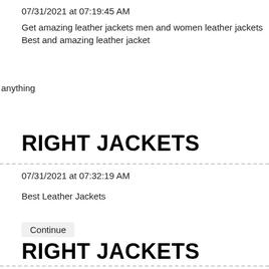07/31/2021 at 07:19:45 AM
Get amazing leather jackets men and women leather jackets Best and amazing leather jacket
anything
RIGHT JACKETS
07/31/2021 at 07:32:19 AM
Best Leather Jackets
Continue
RIGHT JACKETS